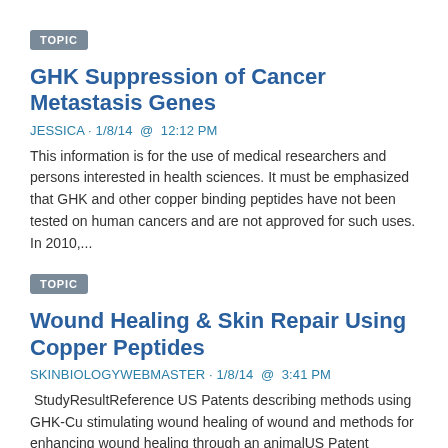TOPIC
GHK Suppression of Cancer Metastasis Genes
JESSICA · 1/8/14  @  12:12 PM
This information is for the use of medical researchers and persons interested in health sciences. It must be emphasized that GHK and other copper binding peptides have not been tested on human cancers and are not approved for such uses. In 2010,...
TOPIC
Wound Healing & Skin Repair Using Copper Peptides
SKINBIOLOGYWEBMASTER · 1/8/14  @  3:41 PM
StudyResultReference US Patents describing methods using GHK-Cu stimulating wound healing of wound and methods for enhancing wound healing through an animalUS Patent 4,665,054   New glycyl-L-histidyl-L-lysine copper derivatives of...
TOPIC